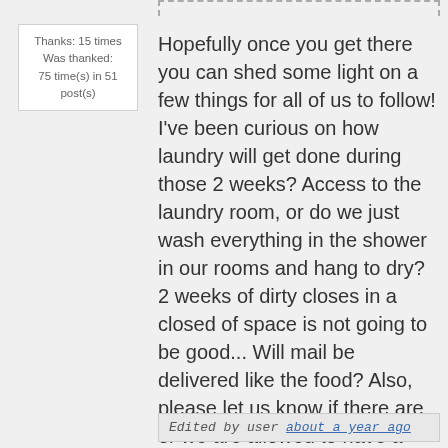Thanks: 15 times
Was thanked: 75 time(s) in 51 post(s)
Hopefully once you get there you can shed some light on a few things for all of us to follow! I've been curious on how laundry will get done during those 2 weeks? Access to the laundry room, or do we just wash everything in the shower in our rooms and hang to dry? 2 weeks of dirty closes in a closed of space is not going to be good... Will mail be delivered like the food? Also, please let us know if there are or we are allowed to have a coffee pot in the room... I have a spare Keurig I'm hoping to take!
Edited by user about a year ago